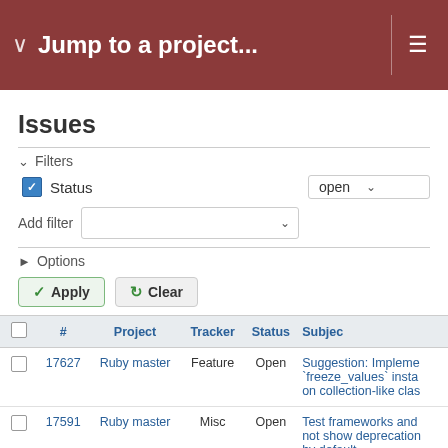Jump to a project...
Issues
Filters
Status — open
Add filter
Options
Apply   Clear
|  | # | Project | Tracker | Status | Subject |
| --- | --- | --- | --- | --- | --- |
|  | 17627 | Ruby master | Feature | Open | Suggestion: Implement `freeze_values` insta on collection-like clas |
|  | 17591 | Ruby master | Misc | Open | Test frameworks and not show deprecation by default |
|  | 17637 | Ruby master | Misc | Open | Endless ranges with boundary weird beha |